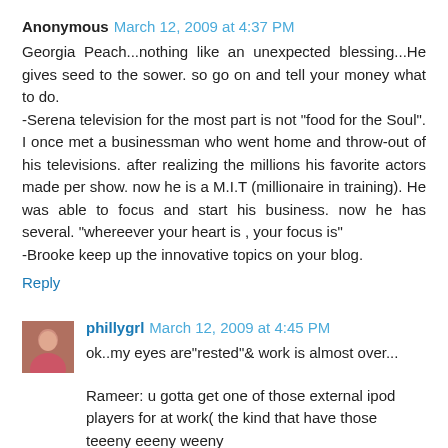Anonymous March 12, 2009 at 4:37 PM
Georgia Peach...nothing like an unexpected blessing...He gives seed to the sower. so go on and tell your money what to do.
-Serena television for the most part is not "food for the Soul". I once met a businessman who went home and throw-out of his televisions. after realizing the millions his favorite actors made per show. now he is a M.I.T (millionaire in training). He was able to focus and start his business. now he has several. "whereever your heart is , your focus is"
-Brooke keep up the innovative topics on your blog.
Reply
phillygrl March 12, 2009 at 4:45 PM
ok..my eyes are"rested"& work is almost over...
Rameer: u gotta get one of those external ipod players for at work( the kind that have those teeeny eeeny weeny